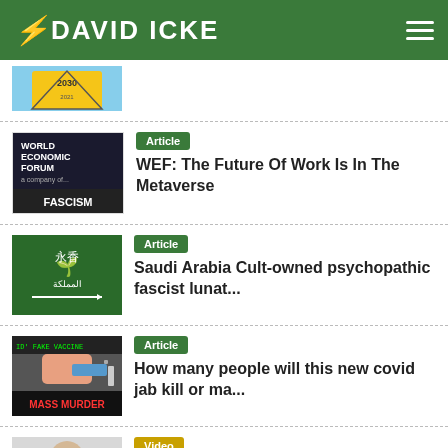DAVID ICKE
[Figure (screenshot): Partial article thumbnail showing 2030 sign]
Article — WEF: The Future Of Work Is In The Metaverse
Article — Saudi Arabia Cult-owned psychopathic fascist lunat...
Article — How many people will this new covid jab kill or ma...
Video — David Icke | Top 5 Elite to Watch